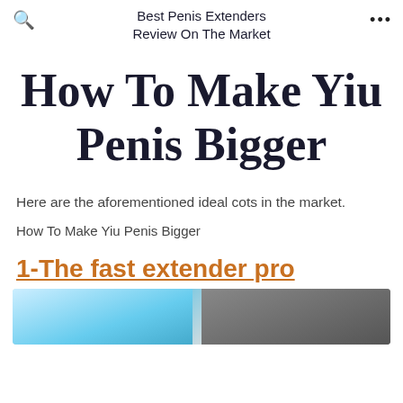Best Penis Extenders Review On The Market
How To Make Yiu Penis Bigger
Here are the aforementioned ideal cots in the market.
How To Make Yiu Penis Bigger
1-The fast extender pro
[Figure (photo): Product image showing two items against a light blue and dark background]